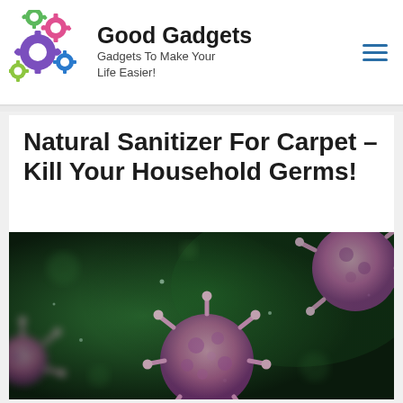Good Gadgets — Gadgets To Make Your Life Easier!
Natural Sanitizer For Carpet – Kill Your Household Germs!
[Figure (photo): Microscopic 3D render of coronavirus/germ particles on a dark green bokeh background. Pink/purple spiky virus particles visible.]